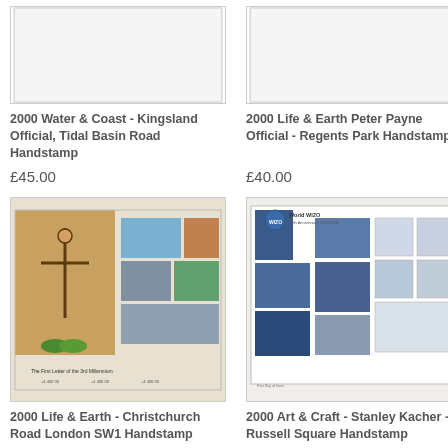[Figure (photo): First day cover stamp envelope - 2000 Water & Coast Kingsland Official, Tidal Basin Road Handstamp (top portion visible)]
2000 Water & Coast - Kingsland Official, Tidal Basin Road Handstamp
£45.00
[Figure (photo): First day cover stamp envelope - 2000 Life & Earth Peter Payne Official, Regents Park Handstamp (top portion visible)]
2000 Life & Earth Peter Payne Official - Regents Park Handstamp
£40.00
[Figure (photo): First day cover showing religious imagery with Christ on cross and a crown of thorns, text reads The First Letter of the 3rd Millennium]
2000 Life & Earth - Christchurch Road London SW1 Handstamp
[Figure (photo): First day cover for World WIZO 80th Anniversary 1920-2000, showing collage of blue-toned photographs of people and activities]
2000 Art & Craft - Stanley Kacher - Russell Square Handstamp